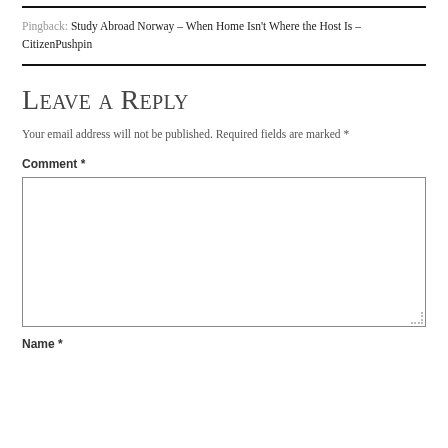Pingback: Study Abroad Norway – When Home Isn't Where the Host Is – CitizenPushpin
Leave a Reply
Your email address will not be published. Required fields are marked *
Comment *
Name *